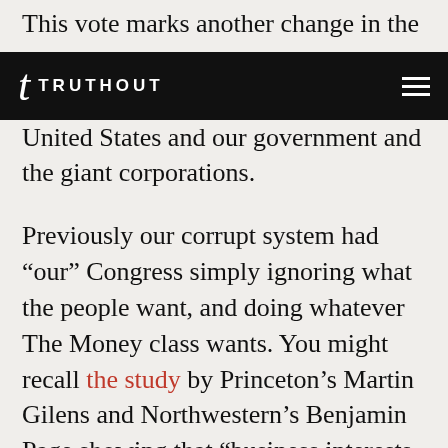This vote marks another change in the
TRUTHOUT
United States and our government and the giant corporations.
Previously our corrupt system had “our” Congress simply ignoring what the people want, and doing whatever The Money class wants. You might recall the study by Princeton’s Martin Gilens and Northwestern’s Benjamin Page showing that “business interests have substantial independent impacts” while “average citizens and mass-based interest